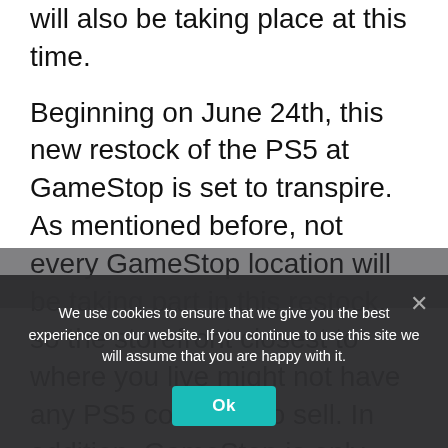with this sale, the latest restock of the PS5 will also be taking place at this time.
Beginning on June 24th, this new restock of the PS5 at GameStop is set to transpire. As mentioned before, not every GameStop location will be taking part in this restock, so the storefront closest to where you live might not have any PS5 consoles to sell. In addition, GameStop is only holding this sale opportunity for those who are PowerUp Rewards Pro members. This is something that GameStop has done quite often in the
We use cookies to ensure that we give you the best experience on our website. If you continue to use this site we will assume that you are happy with it.